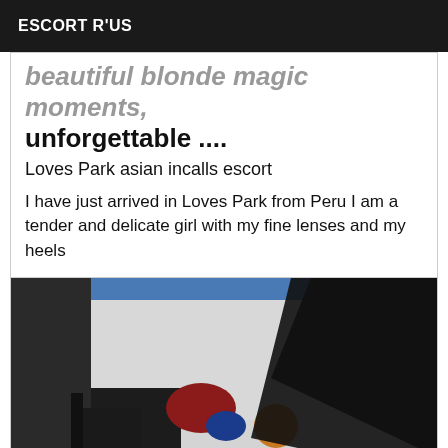ESCORT R'US
beautiful blonde magic moments, unforgettable ....
Loves Park asian incalls escort
I have just arrived in Loves Park from Peru I am a tender and delicate girl with my fine lenses and my heels
[Figure (photo): Close-up photo of a high heel shoe, black fabric, with items in background including bags and objects on a shelf.]